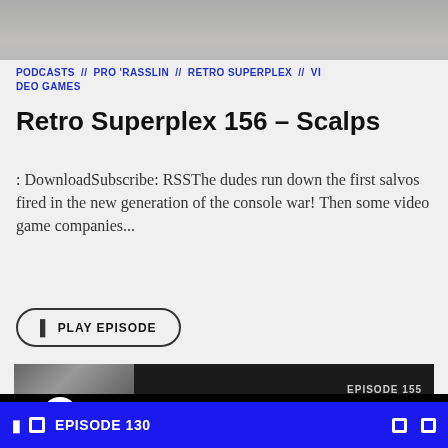[Figure (photo): Partial photo of wrestling/action scene at top of page]
PODCASTS // PRO 'RASSLIN // RETRO SUPERPLEX // VIDEO GAMES
Retro Superplex 156 – Scalps
: DownloadSubscribe: RSSThe dudes run down the first salvos fired in the new generation of the console war! Then some video game companies...
PLAY EPISODE
[Figure (screenshot): Partial preview card showing EPISODE 155 label on dark background]
[Figure (screenshot): Audio player bar with -15s, play button, +15s, progress bar, 00:00, 1x, and menu icon]
EPISODE 130